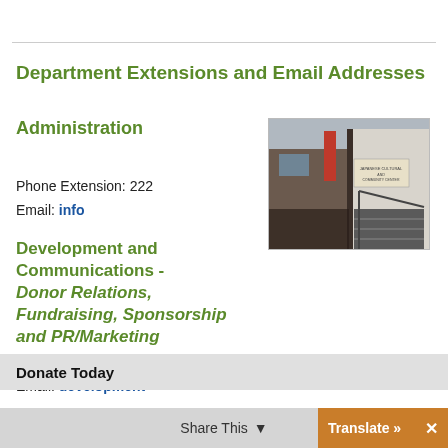Department Extensions and Email Addresses
Administration
[Figure (photo): Exterior photo of a community center building entrance with stairs and a sign]
Phone Extension: 222
Email: info
Development and Communications - Donor Relations, Fundraising, Sponsorship and PR/Marketing
Phone Extension: 234
Email: development
Donate Today
Membership